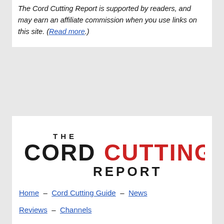[Figure (other): Dark rectangular bar/banner at top of page (partially visible)]
The Cord Cutting Report is supported by readers, and may earn an affiliate commission when you use links on this site. (Read more.)
[Figure (logo): The Cord Cutting Report logo — 'THE' in small letters above large 'CORD CUTTING' (CUTTING in red) and 'REPORT' in dark letters]
Home – Cord Cutting Guide – News
Reviews – Channels
Antenna Guide